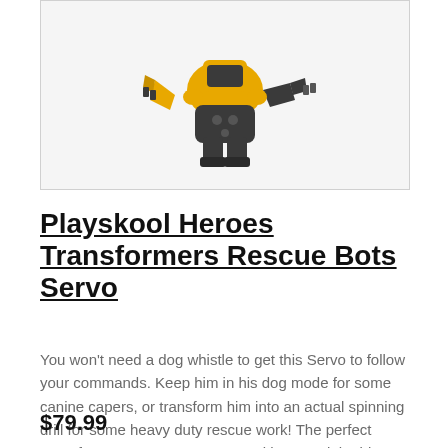[Figure (photo): Product photo of Playskool Heroes Transformers Rescue Bots Servo toy — a yellow and dark grey robotic dog/drill transformer figure shown in dog mode with claws and mechanical parts visible, on a white/light grey background.]
Playskool Heroes Transformers Rescue Bots Servo
You won't need a dog whistle to get this Servo to follow your commands. Keep him in his dog mode for some canine capers, or transform him into an actual spinning drill for some heavy duty rescue work! The perfect Transformers Rescue Bot to go with your High Tide figure.
$79.99